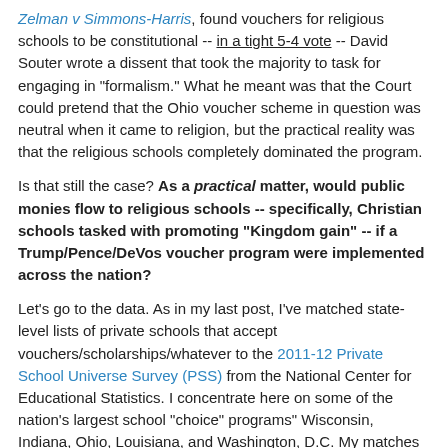Zelman v Simmons-Harris, found vouchers for religious schools to be constitutional -- in a tight 5-4 vote -- David Souter wrote a dissent that took the majority to task for engaging in "formalism." What he meant was that the Court could pretend that the Ohio voucher scheme in question was neutral when it came to religion, but the practical reality was that the religious schools completely dominated the program.
Is that still the case? As a practical matter, would public monies flow to religious schools -- specifically, Christian schools tasked with promoting "Kingdom gain" -- if a Trump/Pence/DeVos voucher program were implemented across the nation?
Let's go to the data. As in my last post, I've matched state-level lists of private schools that accept vouchers/scholarships/whatever to the 2011-12 Private School Universe Survey (PSS) from the National Center for Educational Statistics. I concentrate here on some of the nation's largest school "choice" programs" Wisconsin, Indiana, Ohio, Louisiana, and Washington, D.C. My matches aren't perfect: there are time differences between some of